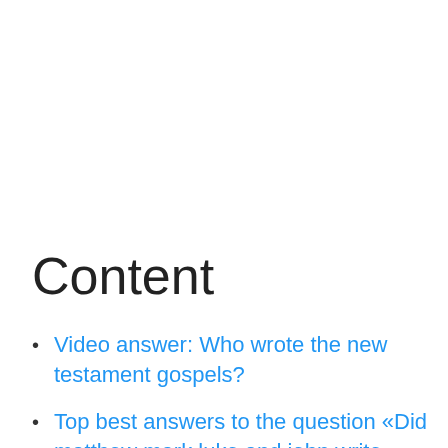Content
Video answer: Who wrote the new testament gospels?
Top best answers to the question «Did matthew mark luke and john write gospels»